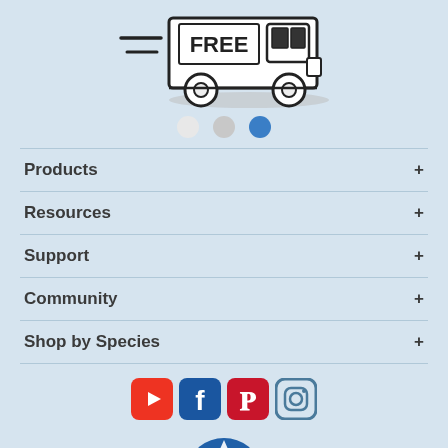[Figure (illustration): A delivery truck illustration with 'FREE' written on the side, shown with motion lines indicating speed, in black and white line art style.]
[Figure (infographic): Three pagination dots: light gray, gray, and blue (active).]
Products +
Resources +
Support +
Community +
Shop by Species +
[Figure (logo): Social media icons: YouTube (red), Facebook (blue), Pinterest (red), Instagram (gray-blue outline).]
[Figure (logo): Partial brand logo at bottom center, blue and white.]